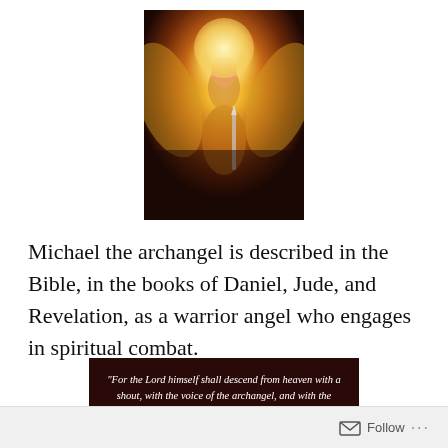[Figure (illustration): An illustration of Michael the archangel in golden armor with large wings and a glowing halo, wielding a sword, depicted in warm golden and reddish tones.]
Michael the archangel is described in the Bible, in the books of Daniel, Jude, and Revelation, as a warrior angel who engages in spiritual combat.
[Figure (infographic): Dark red/maroon quote box with white italic text of a Bible verse: "For the Lord himself shall descend from heaven with a shout, with the voice of the archangel, and with the trump of God: and the dead in Christ shall rise first: Then we which are alive and remain shall be caught up together with them in the clouds, to meet the Lord in the air: and so shall we ever be with the Lord. 1 Thess. 4:16 -17."]
Follow